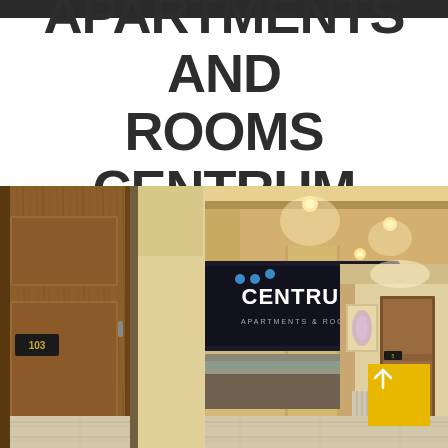APARTMENTS AND ROOMS CENTRUM
[Figure (photo): Interior photo of Apartments and Rooms Centrum lobby/hallway showing wooden doors with room number 103, a reception desk with a Centrum Apartments & Rooms sign, corridor with recessed ceiling lights, marble-look flooring, and a yellow arrow button in the bottom right corner.]